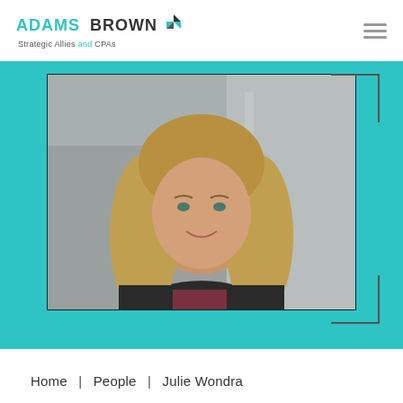ADAMS BROWN Strategic Allies and CPAs
[Figure (photo): Professional headshot of Julie Wondra, a woman with long blonde hair, smiling, wearing a dark jacket over a patterned top, photographed against a blurred office background]
Home | People | Julie Wondra